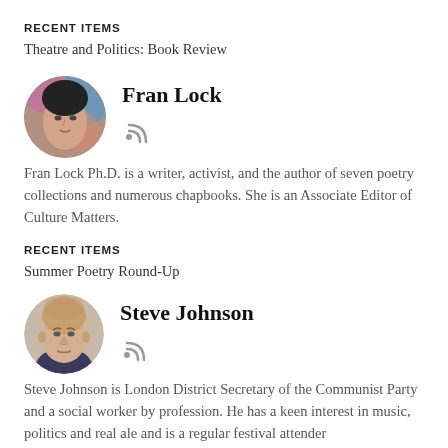RECENT ITEMS
Theatre and Politics: Book Review
Fran Lock
[Figure (photo): Circular avatar photo of Fran Lock, a woman with artistic colorful hair, followed by an RSS icon]
Fran Lock Ph.D. is a writer, activist, and the author of seven poetry collections and numerous chapbooks. She is an Associate Editor of Culture Matters.
RECENT ITEMS
Summer Poetry Round-Up
Steve Johnson
[Figure (photo): Circular avatar photo of Steve Johnson, a bald middle-aged man, followed by an RSS icon]
Steve Johnson is London District Secretary of the Communist Party and a social worker by profession. He has a keen interest in music, politics and real ale and is a regular festival attender